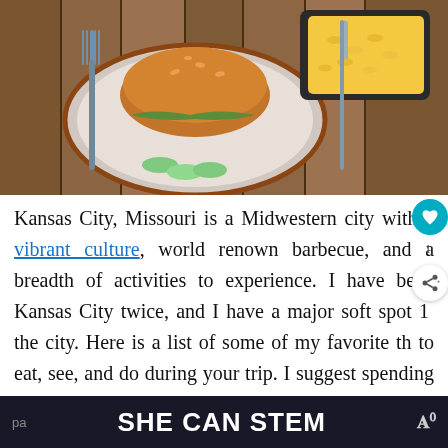[Figure (photo): Overhead view of a burger on a plate with cucumber slices on a wooden table, with mac and cheese in a dish and silverware visible]
Kansas City, Missouri is a Midwestern city with a vibrant culture, world renown barbecue, and a breadth of activities to experience. I have been Kansas City twice, and I have a major soft spot the city. Here is a list of some of my favorite th to eat, see, and do during your trip. I suggest spending some time in Country Club Plaza and checking out some of the events on KC's
SHE CAN STEM